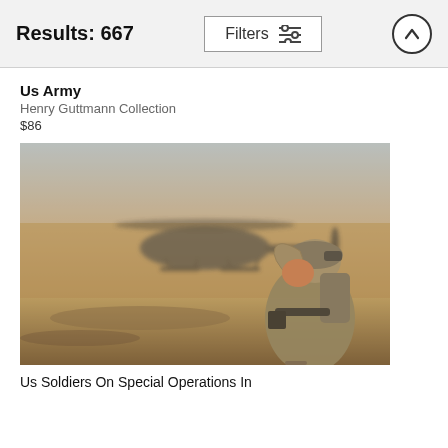Results: 667
Filters
Us Army
Henry Guttmann Collection
$86
[Figure (photo): A US soldier in combat gear shielding his eyes in a dust storm caused by a helicopter (Black Hawk) landing in the background on a desert field.]
Us Soldiers On Special Operations In